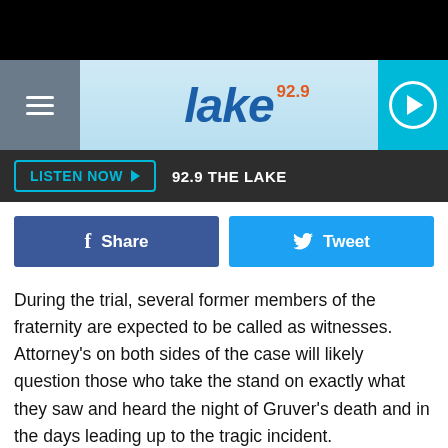[Figure (screenshot): Black top bar]
[Figure (logo): 92.9 The Lake radio station logo on light blue background with hamburger menu and play button]
LISTEN NOW  92.9 THE LAKE
[Figure (infographic): Facebook Share button and Twitter Tweet button]
During the trial, several former members of the fraternity are expected to be called as witnesses. Attorney's on both sides of the case will likely question those who take the stand on exactly what they saw and heard the night of Gruver's death and in the days leading up to the tragic incident.
There are several other members of the LSU Chapter, now banned from the LSU campus, that have been charged in connection with Max Gruver's death. However, only Matthew